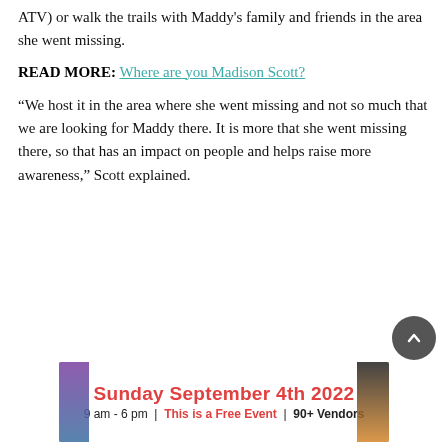ATV) or walk the trails with Maddy's family and friends in the area she went missing.
READ MORE: Where are you Madison Scott?
“We host it in the area where she went missing and not so much that we are looking for Maddy there. It is more that she went missing there, so that has an impact on people and helps raise more awareness,” Scott explained.
[Figure (other): Advertisement banner: Sunday September 4th 2022, 9 am - 6 pm | This is a Free Event | 90+ Vendors]